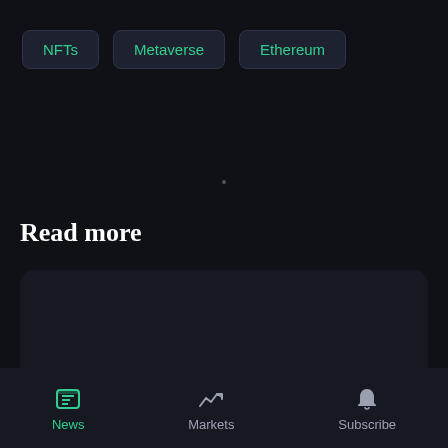NFTs
Metaverse
Ethereum
Read more
[Figure (other): Dark card placeholder area for article content]
News | Markets | Subscribe